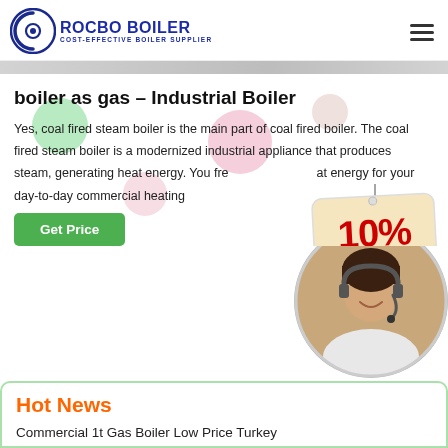[Figure (logo): Rocbo Boiler logo with circular icon and text 'ROCBO BOILER / COST-EFFECTIVE BOILER SUPPLIER' in blue]
boiler as gas – Industrial Boiler
Yes, coal fired steam boiler is the main part of coal fired boiler. The coal fired steam boiler is a modernized industrial appliance that produces steam, generating heat energy. You free at energy for your day-to-day commercial heating
[Figure (infographic): 10% DISCOUNT badge/sticker in red and tan colors]
[Figure (photo): Customer service representative woman with headset in circular frame]
Hot News
Commercial 1t Gas Boiler Low Price Turkey